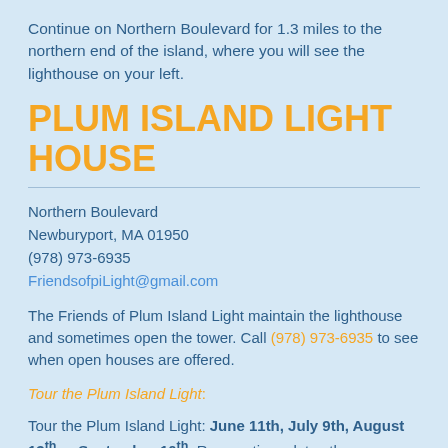Continue on Northern Boulevard for 1.3 miles to the northern end of the island, where you will see the lighthouse on your left.
PLUM ISLAND LIGHT HOUSE
Northern Boulevard
Newburyport, MA 01950
(978) 973-6935
FriendsofpiLight@gmail.com
The Friends of Plum Island Light maintain the lighthouse and sometimes open the tower. Call (978) 973-6935 to see when open houses are offered.
Tour the Plum Island Light:
Tour the Plum Island Light: June 11th, July 9th, August 13th or September 10th. Reservations dates the...